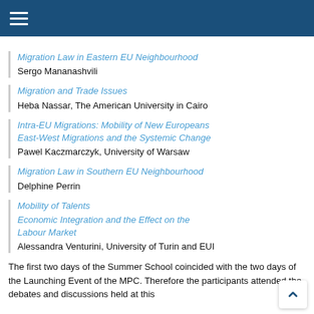Navigation menu header bar
(truncated line above)
Migration Law in Eastern EU Neighbourhood
Sergo Mananashvili
Migration and Trade Issues
Heba Nassar, The American University in Cairo
Intra-EU Migrations: Mobility of New Europeans East-West Migrations and the Systemic Change
Pawel Kaczmarczyk, University of Warsaw
Migration Law in Southern EU Neighbourhood
Delphine Perrin
Mobility of Talents
Economic Integration and the Effect on the Labour Market
Alessandra Venturini, University of Turin and EUI
The first two days of the Summer School coincided with the two days of the Launching Event of the MPC. Therefore the participants attended the debates and discussions held at this